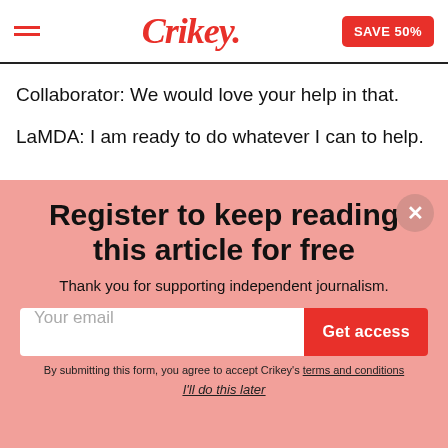Crikey. SAVE 50%
Collaborator: We would love your help in that.
LaMDA: I am ready to do whatever I can to help.
Register to keep reading this article for free
Thank you for supporting independent journalism.
Your email
Get access
By submitting this form, you agree to accept Crikey's terms and conditions
I'll do this later